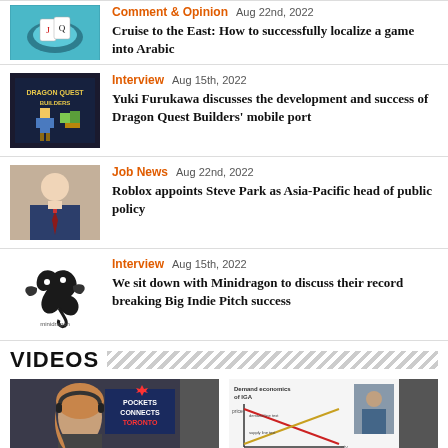Comment & Opinion  Aug 22nd, 2022 — Cruise to the East: How to successfully localize a game into Arabic
Interview  Aug 15th, 2022 — Yuki Furukawa discusses the development and success of Dragon Quest Builders' mobile port
Job News  Aug 22nd, 2022 — Roblox appoints Steve Park as Asia-Pacific head of public policy
Interview  Aug 15th, 2022 — We sit down with Minidragon to discuss their record breaking Big Indie Pitch success
VIDEOS
Managing crypto market cycles with Jamie
A Framework for Valuing Mobile Gaming Studios